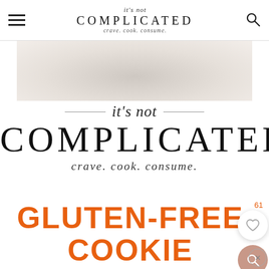it's not COMPLICATED — crave. cook. consume.
[Figure (photo): Close-up of a white ceramic bowl or plate, softly lit against a light background]
[Figure (logo): It's not COMPLICATED — crave. cook. consume. brand logo with decorative script and serif typography]
GLUTEN-FREE COOKIE EASTER NESTS